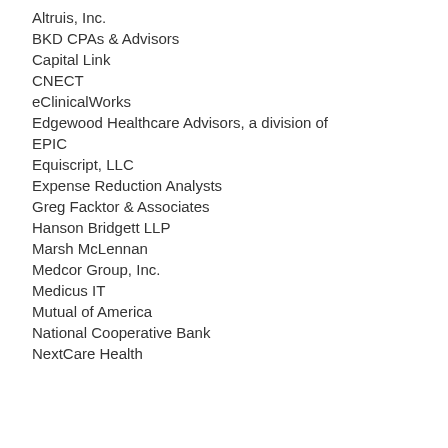Altruis, Inc.
BKD CPAs & Advisors
Capital Link
CNECT
eClinicalWorks
Edgewood Healthcare Advisors, a division of
EPIC
Equiscript, LLC
Expense Reduction Analysts
Greg Facktor & Associates
Hanson Bridgett LLP
Marsh McLennan
Medcor Group, Inc.
Medicus IT
Mutual of America
National Cooperative Bank
NextCare Health...